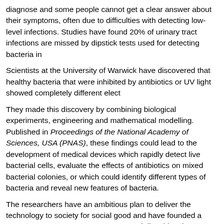diagnose and some people cannot get a clear answer about their symptoms, often due to difficulties with detecting low-level infections. Studies have found 20% of urinary tract infections are missed by dipstick tests used for detecting bacteria in
Scientists at the University of Warwick have discovered that healthy bacteria that were inhibited by antibiotics or UV light showed completely different elect
They made this discovery by combining biological experiments, engineering and mathematical modelling. Published in Proceedings of the National Academy of Sciences, USA (PNAS), these findings could lead to the development of medical devices which rapidly detect live bacterial cells, evaluate the effects of antibiotics on mixed bacterial colonies, or which could identify different types of bacteria and reveal new features of bacteria.
The researchers have an ambitious plan to deliver the technology to society for social good and have founded a start-up company Cytecom to commercialise this. The company has been awarded a grant from Innovate UK, the national innovation funding agency. This governmental support accelerates the process and the technology will be available to researchers and businesses in the very near future.
Dr Munehiro Asally, Assistant Professor at the University of Warwick